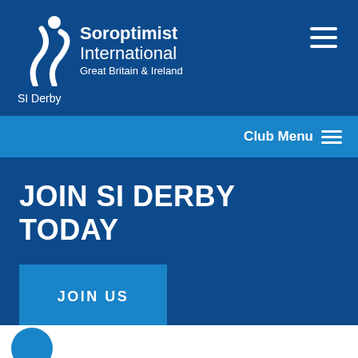Soroptimist International Great Britain & Ireland
SI Derby
Club Menu
JOIN SI DERBY TODAY
JOIN US